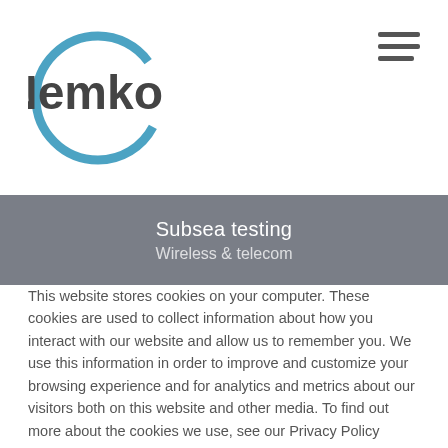[Figure (logo): Nemko logo — circular blue arc around 'Nemko' text in bold sans-serif]
[Figure (other): Hamburger menu icon — three horizontal dark grey lines]
Subsea testing
Wireless & telecom
This website stores cookies on your computer. These cookies are used to collect information about how you interact with our website and allow us to remember you. We use this information in order to improve and customize your browsing experience and for analytics and metrics about our visitors both on this website and other media. To find out more about the cookies we use, see our Privacy Policy
If you decline, your information won’t be tracked when you visit this website. A single cookie will be used in your browser to remember your preference not to be tracked.
Cookies settings
Accept All
Decline All